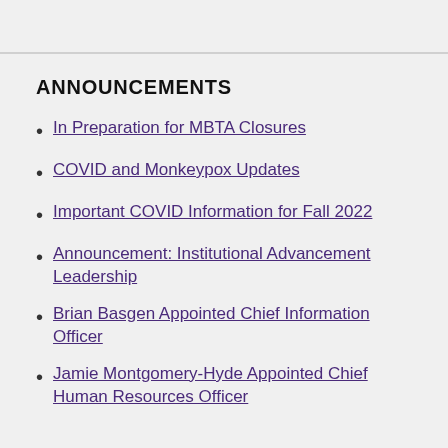ANNOUNCEMENTS
In Preparation for MBTA Closures
COVID and Monkeypox Updates
Important COVID Information for Fall 2022
Announcement: Institutional Advancement Leadership
Brian Basgen Appointed Chief Information Officer
Jamie Montgomery-Hyde Appointed Chief Human Resources Officer